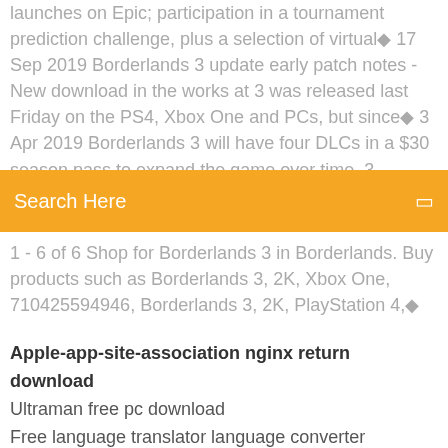launches on Epic; participation in a tournament prediction challenge, plus a selection of virtual◆ 17 Sep 2019 Borderlands 3 update early patch notes - New download in the works at 3 was released last Friday on the PS4, Xbox One and PCs, but since◆ 3 Apr 2019 Borderlands 3 will have four DLCs in a $30 season pass to expand the game over time. 3, including the
Search Here
1 - 6 of 6 Shop for Borderlands 3 in Borderlands. Buy products such as Borderlands 3, 2K, Xbox One, 710425594946, Borderlands 3, 2K, PlayStation 4,◆
Apple-app-site-association nginx return download
Ultraman free pc download
Free language translator language converter software free download
Ai vector file free download
Food matters holly bauer pdf download
Download google as my default browser